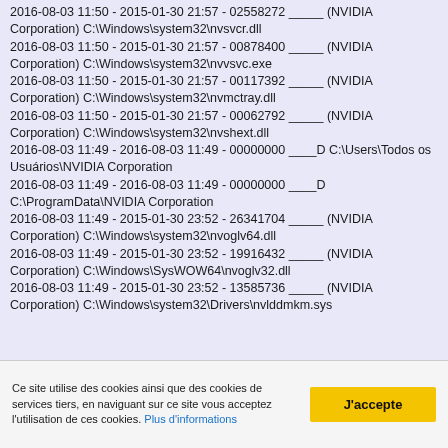2016-08-03 11:50 - 2015-01-30 21:57 - 02558272 _____ (NVIDIA Corporation) C:\Windows\system32\nvsvcr.dll
2016-08-03 11:50 - 2015-01-30 21:57 - 00878400 _____ (NVIDIA Corporation) C:\Windows\system32\nvvsvc.exe
2016-08-03 11:50 - 2015-01-30 21:57 - 00117392 _____ (NVIDIA Corporation) C:\Windows\system32\nvmctray.dll
2016-08-03 11:50 - 2015-01-30 21:57 - 00062792 _____ (NVIDIA Corporation) C:\Windows\system32\nvshext.dll
2016-08-03 11:49 - 2016-08-03 11:49 - 00000000 ____D C:\Users\Todos os Usuários\NVIDIA Corporation
2016-08-03 11:49 - 2016-08-03 11:49 - 00000000 ____D C:\ProgramData\NVIDIA Corporation
2016-08-03 11:49 - 2015-01-30 23:52 - 26341704 _____ (NVIDIA Corporation) C:\Windows\system32\nvoglv64.dll
2016-08-03 11:49 - 2015-01-30 23:52 - 19916432 _____ (NVIDIA Corporation) C:\Windows\SysWOW64\nvoglv32.dll
2016-08-03 11:49 - 2015-01-30 23:52 - 13585736 _____ (NVIDIA Corporation) C:\Windows\system32\Drivers\nvlddmkm.sys
Ce site utilise des cookies ainsi que des cookies de services tiers, en naviguant sur ce site vous acceptez l'utilisation de ces cookies. Plus d'informations